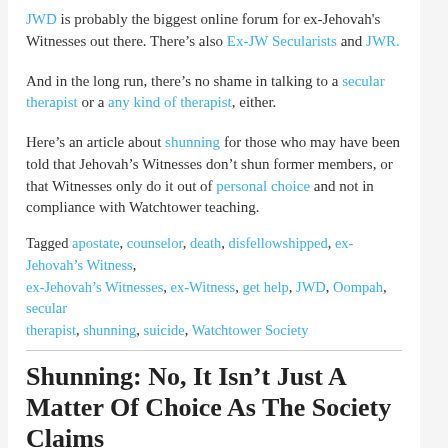JWD is probably the biggest online forum for ex-Jehovah's Witnesses out there. There's also Ex-JW Secularists and JWR.
And in the long run, there's no shame in talking to a secular therapist or a any kind of therapist, either.
Here's an article about shunning for those who may have been told that Jehovah's Witnesses don't shun former members, or that Witnesses only do it out of personal choice and not in compliance with Watchtower teaching.
Tagged apostate, counselor, death, disfellowshipped, ex-Jehovah's Witness, ex-Jehovah's Witnesses, ex-Witness, get help, JWD, Oompah, secular therapist, shunning, suicide, Watchtower Society
Shunning: No, It Isn't Just A Matter Of Choice As The Society Claims
By The Atheist Geek | August 14, 2012 | Ex-Jehovah's Witnesses, XJW Commentary
3 Comments